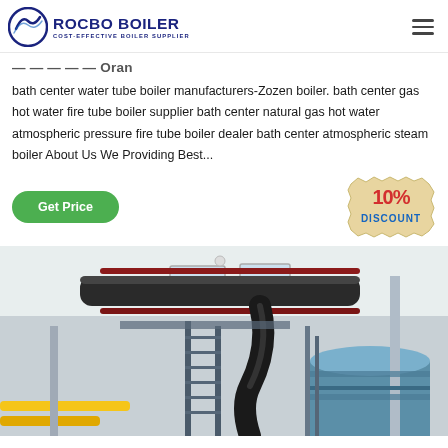ROCBO BOILER — COST-EFFECTIVE BOILER SUPPLIER
— — — — — Oran
bath center water tube boiler manufacturers-Zozen boiler. bath center gas hot water fire tube boiler supplier bath center natural gas hot water atmospheric pressure fire tube boiler dealer bath center atmospheric steam boiler About Us We Providing Best...
[Figure (other): 10% DISCOUNT badge/sticker in red and blue text on a tan/beige label background]
[Figure (photo): Industrial boiler room interior showing large insulated pipes, blue cylindrical boiler vessel, metal staircases/platforms, yellow piping, and white walls with windows]